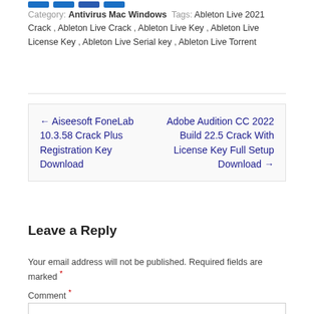Category: Antivirus Mac Windows Tags: Ableton Live 2021 Crack , Ableton Live Crack , Ableton Live Key , Ableton Live License Key , Ableton Live Serial key , Ableton Live Torrent
← Aiseesoft FoneLab 10.3.58 Crack Plus Registration Key Download
Adobe Audition CC 2022 Build 22.5 Crack With License Key Full Setup Download →
Leave a Reply
Your email address will not be published. Required fields are marked *
Comment *